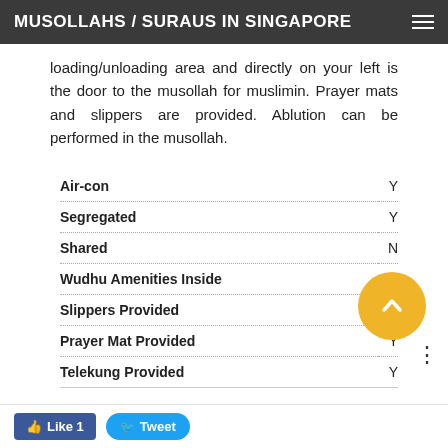MUSOLLAHS / SURAUS IN SINGAPORE
loading/unloading area and directly on your left is the door to the musollah for muslimin. Prayer mats and slippers are provided. Ablution can be performed in the musollah.
|  |  |
| --- | --- |
| Air-con | Y |
| Segregated | Y |
| Shared | N |
| Wudhu Amenities Inside | Y |
| Slippers Provided | Y |
| Prayer Mat Provided | Y |
| Telekung Provided | Y |